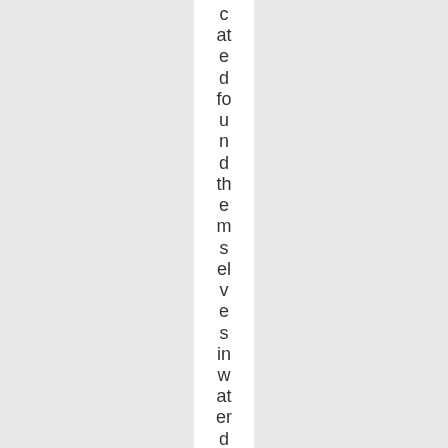cated found themselves in waterdeep enough